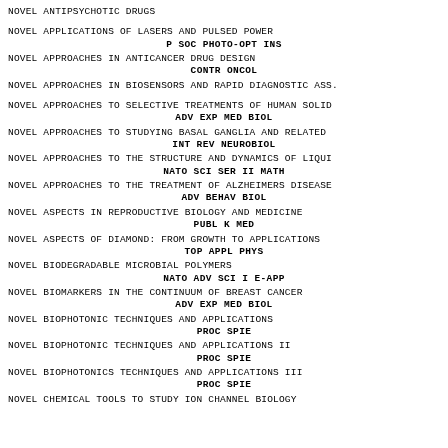NOVEL ANTIPSYCHOTIC DRUGS
NOVEL APPLICATIONS OF LASERS AND PULSED POWER
P SOC PHOTO-OPT INS
NOVEL APPROACHES IN ANTICANCER DRUG DESIGN
CONTR ONCOL
NOVEL APPROACHES IN BIOSENSORS AND RAPID DIAGNOSTIC ASS.
NOVEL APPROACHES TO SELECTIVE TREATMENTS OF HUMAN SOLID
ADV EXP MED BIOL
NOVEL APPROACHES TO STUDYING BASAL GANGLIA AND RELATED
INT REV NEUROBIOL
NOVEL APPROACHES TO THE STRUCTURE AND DYNAMICS OF LIQUI
NATO SCI SER II MATH
NOVEL APPROACHES TO THE TREATMENT OF ALZHEIMERS DISEASE
ADV BEHAV BIOL
NOVEL ASPECTS IN REPRODUCTIVE BIOLOGY AND MEDICINE
PUBL K MED
NOVEL ASPECTS OF DIAMOND: FROM GROWTH TO APPLICATIONS
TOP APPL PHYS
NOVEL BIODEGRADABLE MICROBIAL POLYMERS
NATO ADV SCI I E-APP
NOVEL BIOMARKERS IN THE CONTINUUM OF BREAST CANCER
ADV EXP MED BIOL
NOVEL BIOPHOTONIC TECHNIQUES AND APPLICATIONS
PROC SPIE
NOVEL BIOPHOTONIC TECHNIQUES AND APPLICATIONS II
PROC SPIE
NOVEL BIOPHOTONICS TECHNIQUES AND APPLICATIONS III
PROC SPIE
NOVEL CHEMICAL TOOLS TO STUDY ION CHANNEL BIOLOGY